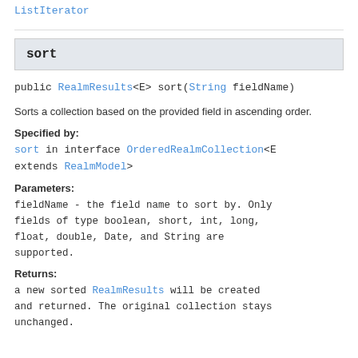ListIterator
sort
public RealmResults<E> sort(String fieldName)
Sorts a collection based on the provided field in ascending order.
Specified by:
sort in interface OrderedRealmCollection<E extends RealmModel>
Parameters:
fieldName - the field name to sort by. Only fields of type boolean, short, int, long, float, double, Date, and String are supported.
Returns:
a new sorted RealmResults will be created and returned. The original collection stays unchanged.